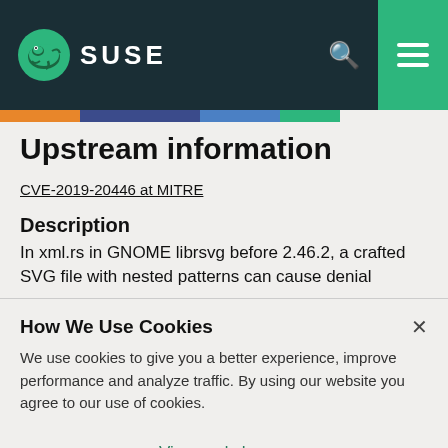SUSE
Upstream information
CVE-2019-20446 at MITRE
Description
In xml.rs in GNOME librsvg before 2.46.2, a crafted SVG file with nested patterns can cause denial
How We Use Cookies
We use cookies to give you a better experience, improve performance and analyze traffic. By using our website you agree to our use of cookies.
View and change cookie preferences >